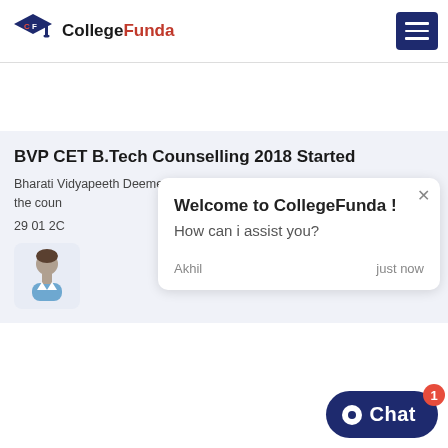[Figure (logo): CollegeFunda logo with graduation cap icon and text 'College Funda']
[Figure (other): Hamburger menu button (dark navy blue with three white lines)]
BVP CET B.Tech Counselling 2018 Started
Bharati Vidyapeeth Deemed University Pune has commenced with the coun
29 01 2C
[Figure (illustration): User avatar icon of a male person]
Welcome to CollegeFunda !
How can i assist you?
Akhil
just now
[Figure (other): Chat button (dark navy blue rounded rectangle with circle icon and 'Chat' text, badge showing 1)]